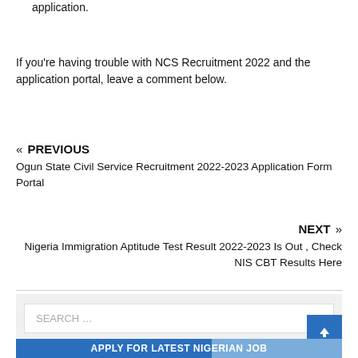application.
If you're having trouble with NCS Recruitment 2022 and the application portal, leave a comment below.
« PREVIOUS
Ogun State Civil Service Recruitment 2022-2023 Application Form Portal
NEXT »
Nigeria Immigration Aptitude Test Result 2022-2023 Is Out , Check NIS CBT Results Here
SEARCH …
APPLY FOR LATEST NIGERIAN JOB